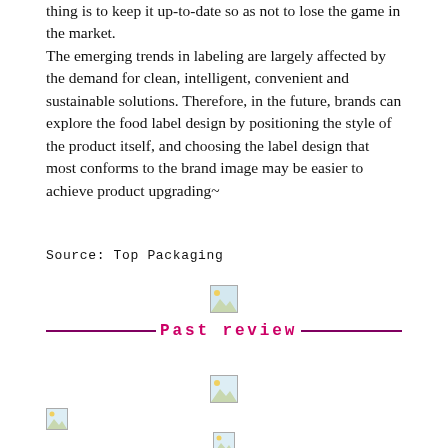thing is to keep it up-to-date so as not to lose the game in the market. The emerging trends in labeling are largely affected by the demand for clean, intelligent, convenient and sustainable solutions. Therefore, in the future, brands can explore the food label design by positioning the style of the product itself, and choosing the label design that most conforms to the brand image may be easier to achieve product upgrading~
Source: Top Packaging
[Figure (illustration): Broken image placeholder (small)]
Past review
[Figure (illustration): Broken image placeholder (small)]
[Figure (illustration): Broken image placeholder (small)]
[Figure (illustration): Broken image placeholder (small)]